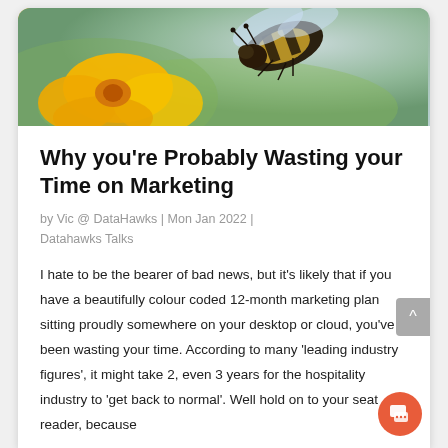[Figure (photo): Close-up photograph of a bumblebee on yellow/orange flowers with a green and light blue background]
Why you're Probably Wasting your Time on Marketing
by Vic @ DataHawks | Mon Jan 2022 | Datahawks Talks
I hate to be the bearer of bad news, but it's likely that if you have a beautifully colour coded 12-month marketing plan sitting proudly somewhere on your desktop or cloud, you've been wasting your time. According to many 'leading industry figures', it might take 2, even 3 years for the hospitality industry to 'get back to normal'. Well hold on to your seat reader, because